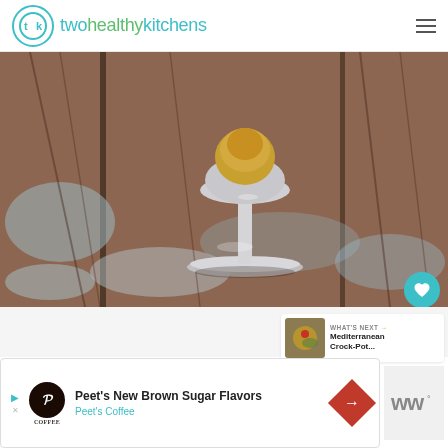twohealthykitchens
[Figure (photo): Close-up photo of a glass egg cup or stemmed glass holder on a rustic weathered wooden surface with peeling blue-gray paint and brown wood grain.]
WHAT'S NEXT → Mediterranean Crock-Pot...
[Figure (photo): Small thumbnail image of a Mediterranean Crock-Pot dish.]
Peet's New Brown Sugar Flavors
Peet's Coffee